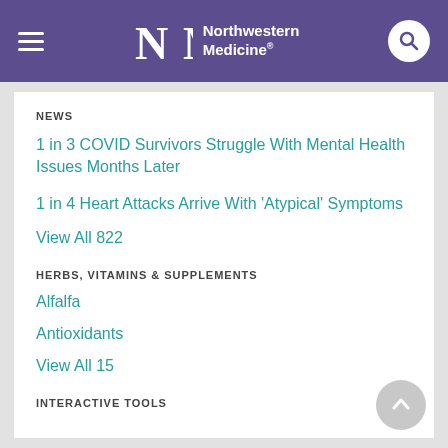Northwestern Medicine
NEWS
1 in 3 COVID Survivors Struggle With Mental Health Issues Months Later
1 in 4 Heart Attacks Arrive With 'Atypical' Symptoms
View All 822
HERBS, VITAMINS & SUPPLEMENTS
Alfalfa
Antioxidants
View All 15
INTERACTIVE TOOLS